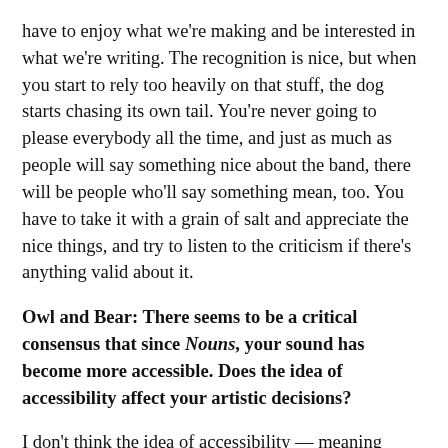have to enjoy what we're making and be interested in what we're writing. The recognition is nice, but when you start to rely too heavily on that stuff, the dog starts chasing its own tail. You're never going to please everybody all the time, and just as much as people will say something nice about the band, there will be people who'll say something mean, too. You have to take it with a grain of salt and appreciate the nice things, and try to listen to the criticism if there's anything valid about it.
Owl and Bear: There seems to be a critical consensus that since Nouns, your sound has become more accessible. Does the idea of accessibility affect your artistic decisions?
I don't think the idea of accessibility — meaning songs that people would like — really plays into it. It's more of personal taste, the way the music is written. No, there's never been any conscious intention to be accessible, or continue to be accessible. It's just grown out of a sense of intuition in